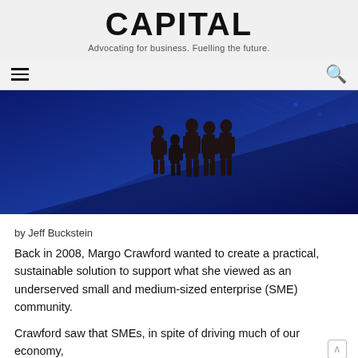CAPITAL
Advocating for business. Fuelling the future.
[Figure (illustration): Silhouettes of several people standing on a blue circuit-board themed background with diagonal shadow lines]
by Jeff Buckstein
Back in 2008, Margo Crawford wanted to create a practical, sustainable solution to support what she viewed as an underserved small and medium-sized enterprise (SME) community.
Crawford saw that SMEs, in spite of driving much of our economy,